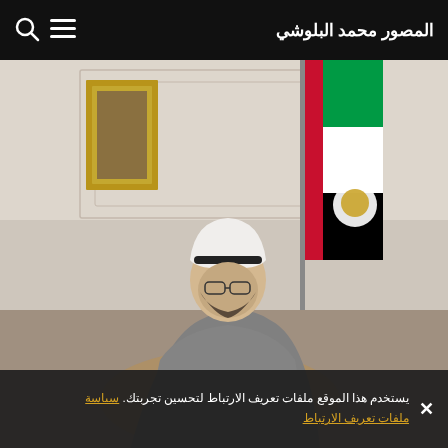المصور محمد البلوشي
[Figure (photo): A man in traditional Emirati white keffiyeh and grey thobe seated in a formal interior, with a UAE flag in the background and a gold-framed painting on the wall.]
يستخدم هذا الموقع ملفات تعريف الارتباط لتحسين تجربتك. سياسة ملفات تعريف الارتباط